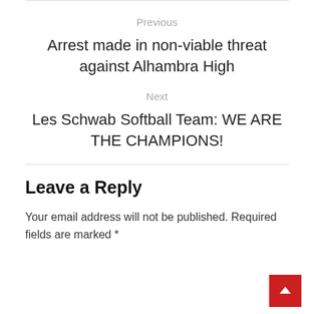Previous
Arrest made in non-viable threat against Alhambra High
Next
Les Schwab Softball Team: WE ARE THE CHAMPIONS!
Leave a Reply
Your email address will not be published. Required fields are marked *